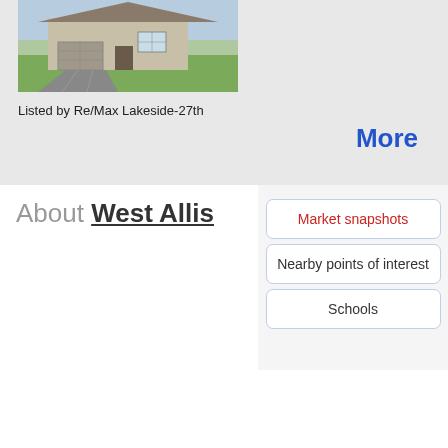[Figure (photo): Exterior photo of a residential house with green lawn and driveway]
Listed by Re/Max Lakeside-27th
More
About West Allis
Market snapshots
Nearby points of interest
Schools